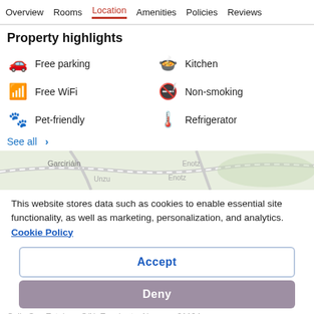Overview  Rooms  Location  Amenities  Policies  Reviews
Property highlights
Free parking
Kitchen
Free WiFi
Non-smoking
Pet-friendly
Refrigerator
See all >
[Figure (map): Map snippet showing Garciriáin area with Unzu and Enotz labels]
This website stores data such as cookies to enable essential site functionality, as well as marketing, personalization, and analytics. Cookie Policy
Accept
Deny
Calle San Esteban, S/N, Ezcabarte, Navarra, 31194